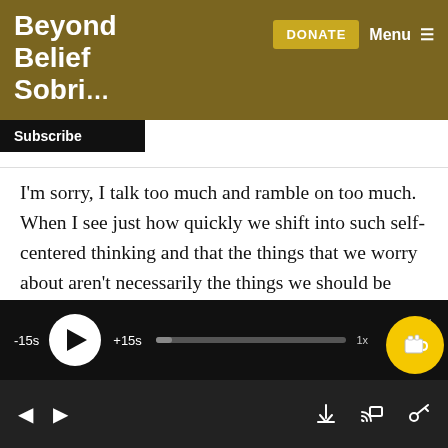Beyond Belief Sobriety
I'm sorry, I talk too much and ramble on too much. When I see just how quickly we shift into such self-centered thinking and that the things that we worry about aren't necessarily the things we should be worried about, like toilet paper.
29:08 John: I mean, geez, grab a rag and wipe your butt and wash your rags if you have to. I
[Figure (screenshot): Podcast audio player bar with -15s skip back, play button, +15s skip forward, progress bar, and 1x speed label]
Navigation arrows, download icon, cast icon, settings icon